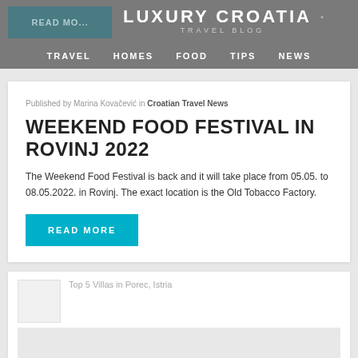READ MORE · LUXURY CROATIA · TRAVEL BLOG
TRAVEL  HOMES  FOOD  TIPS  NEWS
Published by Marina Kovačević in Croatian Travel News
WEEKEND FOOD FESTIVAL IN ROVINJ 2022
The Weekend Food Festival is back and it will take place from 05.05. to 08.05.2022. in Rovinj. The exact location is the Old Tobacco Factory.
READ MORE
[Figure (photo): Partial image of Top 5 Villas in Porec, Istria]
Published by Lucija Vrtlar in Croatian Villas